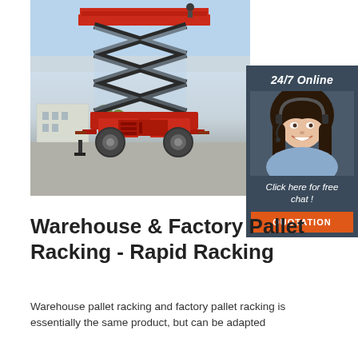[Figure (photo): Red scissor lift / elevated work platform photographed outdoors against a sky background, showing the extended scissor mechanism and operator platform at top.]
[Figure (infographic): 24/7 Online chat widget with a smiling female customer service representative wearing a headset. Text reads '24/7 Online', 'Click here for free chat!', and an orange 'QUOTATION' button.]
Warehouse & Factory Pallet Racking - Rapid Racking
Warehouse pallet racking and factory pallet racking is essentially the same product, but can be adapted